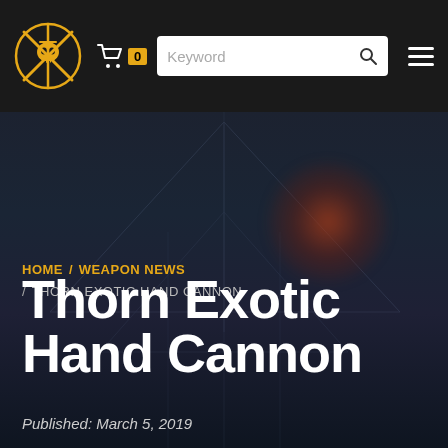[Figure (logo): Orange skull/crossbones pirate-style circular logo with sword]
Keyword [search] [menu]
HOME / WEAPON NEWS / THORN EXOTIC HAND CANNON
Thorn Exotic Hand Cannon
Published: March 5, 2019